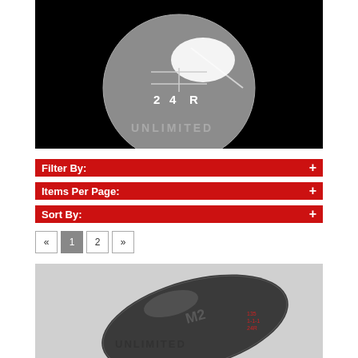[Figure (photo): Close-up photo of a transparent/frosted spherical gear shift knob showing shift pattern (1-2-3-4-R) on a black background with watermark text 'UNLIMITED']
Filter By: +
Items Per Page: +
Sort By: +
« 1 2 »
[Figure (photo): Close-up photo of a dark metallic oval/teardrop-shaped gear shift knob with shift pattern engraved, on a light gray background with watermark]